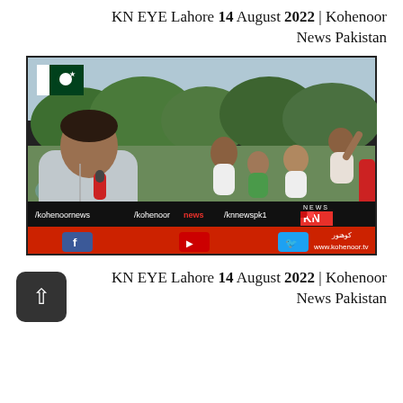KN EYE Lahore 14 August 2022 | Kohenoor News Pakistan
[Figure (screenshot): Kohenoor News TV screenshot showing a reporter holding a microphone outdoors in a park-like setting with a Pakistani flag visible, crowd of people in background, and the Kohenoor News lower-third graphic with social media handles: /kohenoornews, /kohenoor news, /knnewspk1, KN News logo, and www.kohenoor.tv website at bottom.]
KN EYE Lahore 14 August 2022 | Kohenoor News Pakistan